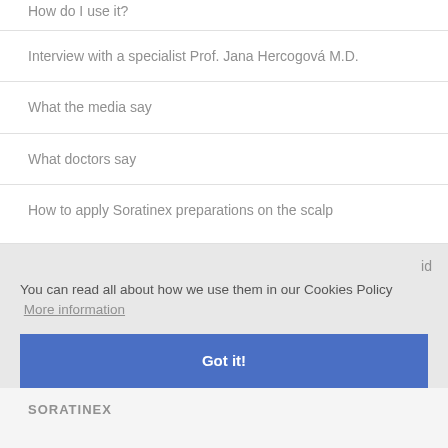How do I use it?
Interview with a specialist Prof. Jana Hercogová M.D.
What the media say
What doctors say
How to apply Soratinex preparations on the scalp
You can read all about how we use them in our Cookies Policy  More information
Got it!
SORATINEX